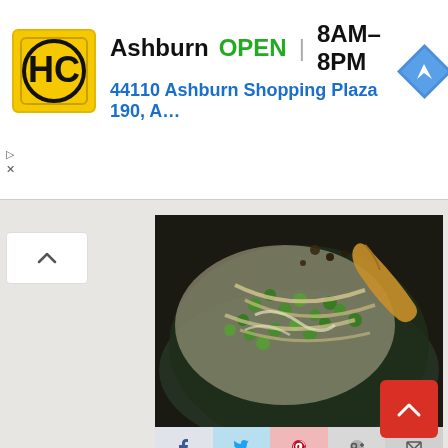[Figure (screenshot): Advertisement banner for H&C with yellow logo, showing 'Ashburn OPEN | 8AM–8PM' and address '44110 Ashburn Shopping Plaza 190, A...' with a blue navigation arrow icon]
[Figure (photo): Close-up food photograph of Garlic Cream Bucatini with peas and asparagus in a dark bowl with a wooden spoon]
[Figure (screenshot): Social sharing bar with Facebook, Twitter, Pinterest, Google+, and Email buttons]
Garlic Cream Bucatini with Peas and Asparagus
This truly is a wonderful springy gem! Bucatini noodles in a garlic-infused creamy sauce and